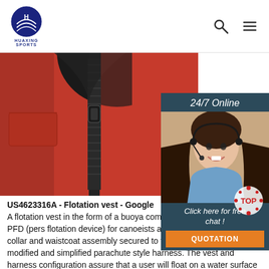HUAXING SPORTS logo with search and menu icons
[Figure (photo): Close-up photo of a red flotation vest with a black zipper running down the center, showing collar area and a side pocket on the left]
[Figure (photo): 24/7 Online chat widget showing a female customer service representative wearing a headset and smiling, with blue shirt. Dark teal background with 'Click here for free chat!' text and orange QUOTATION button.]
US4623316A - Flotation vest - Google A flotation vest in the form of a buoya compensator for divers or a PFD (pers flotation device) for canoeists and the like including a collar and waistcoat assembly secured to the body of a user by a modified and simplified parachute style harness. The vest and harness configuration assure that a user will float on a water surface in a stable, head up and out of water position.